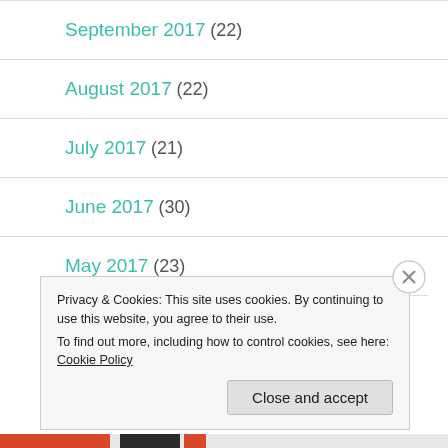September 2017 (22)
August 2017 (22)
July 2017 (21)
June 2017 (30)
May 2017 (23)
Privacy & Cookies: This site uses cookies. By continuing to use this website, you agree to their use. To find out more, including how to control cookies, see here: Cookie Policy
Close and accept